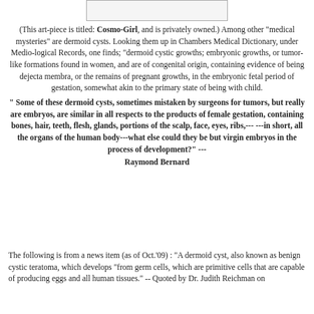[Figure (other): A small rectangular image box at top of page (partial image visible)]
(This art-piece is titled: Cosmo-Girl, and is privately owned.) Among other "medical mysteries" are dermoid cysts. Looking them up in Chambers Medical Dictionary, under Medio-logical Records, one finds; "dermoid cystic growths; embryonic growths, or tumor-like formations found in women, and are of congenital origin, containing evidence of being dejecta membra, or the remains of pregnant growths, in the embryonic fetal period of gestation, somewhat akin to the primary state of being with child.
" Some of these dermoid cysts, sometimes mistaken by surgeons for tumors, but really are embryos, are similar in all respects to the products of female gestation, containing bones, hair, teeth, flesh, glands, portions of the scalp, face, eyes, ribs,-----in short, all the organs of the human body---what else could they be but virgin embryos in the process of development?" --- Raymond Bernard
The following is from a news item (as of Oct.'09) : "A dermoid cyst, also known as benign cystic teratoma, which develops "from germ cells, which are primitive cells that are capable of producing eggs and all human tissues." -- Quoted by Dr. Judith Reichman on